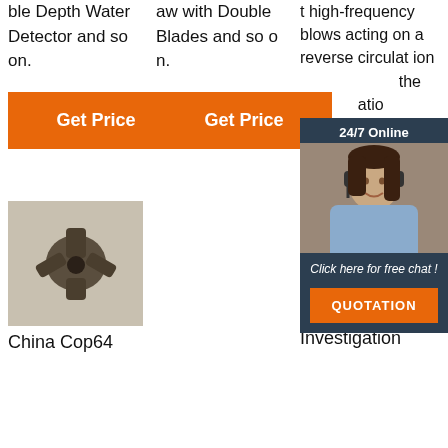ble Depth Water Detector and so on.
aw with Double Blades and so on.
t high-frequency blows acting on a reverse circulation drill bit where the rotation atio
[Figure (infographic): Customer service chat widget with '24/7 Online' header, woman with headset, 'Click here for free chat!' text, and QUOTATION button]
Get Price
Get Price
G
[Figure (photo): Photo of a drill bit tool (China Cop64 product), dark metallic, cross-shaped head]
[Figure (photo): Photo of drill bit tool (Investigation product), dark metallic with TOP badge overlay]
China Cop64
Investigation